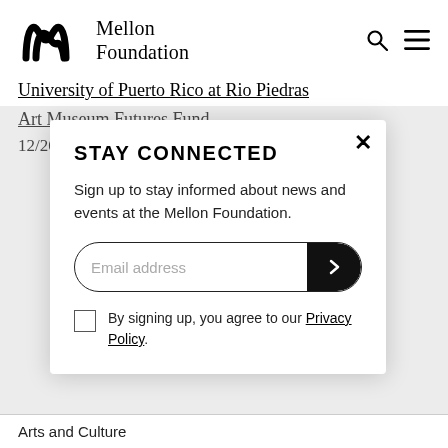Mellon Foundation
University of Puerto Rico at Rio Piedras
Art Museum Futures Fund
12/20/21
STAY CONNECTED
Sign up to stay informed about news and events at the Mellon Foundation.
Email address
By signing up, you agree to our Privacy Policy.
Arts and Culture